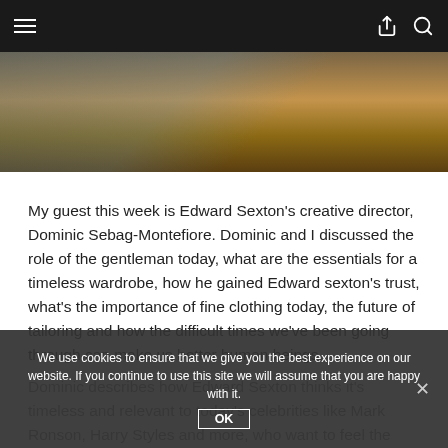Navigation bar with hamburger menu, share icon, and search icon
[Figure (photo): Partial view of two people seated in chairs in a room with wooden flooring, one wearing jeans. Blue upholstered chair visible on the right.]
My guest this week is Edward Sexton's creative director, Dominic Sebag-Montefiore. Dominic and I discussed the role of the gentleman today, what are the essentials for a timeless wardrobe, how he gained Edward sexton's trust, what's the importance of fine clothing today, the future of tailoring and how the difficult times we've been going through can make us better human beings.
Dominic describes how Edward Sexton thinks it's timeless and relevant to today's celebrities like Mark Ronson, Harry Styles and more, who want to feel the magic of an ES suit while they perform or interact with their audience.
We use cookies to ensure that we give you the best experience on our website. If you continue to use this site we will assume that you are happy with it.
OK